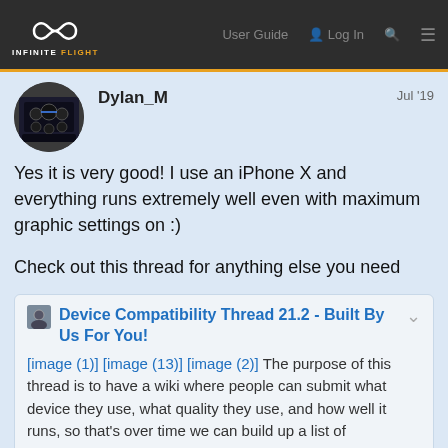Infinite Flight — User Guide | Log In
Dylan_M   Jul '19
Yes it is very good! I use an iPhone X and everything runs extremely well even with maximum graphic settings on :)
Check out this thread for anything else you need
Device Compatibility Thread 21.2 - Built By Us For You!
[image (1)] [image (13)] [image (2)] The purpose of this thread is to have a wiki where people can submit what device they use, what quality they use, and how well it runs, so that's over time we can build up a list of compatible devices, and how well those devices work on what settings. So if anyone asks about if their device is certain device works well with Infinite Fl
2 / 18